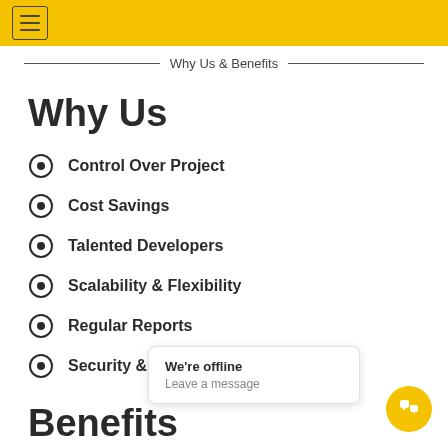Why Us & Benefits
Why Us
Control Over Project
Cost Savings
Talented Developers
Scalability & Flexibility
Regular Reports
Security & Confidentiality
Benefits
We're offline
Leave a message